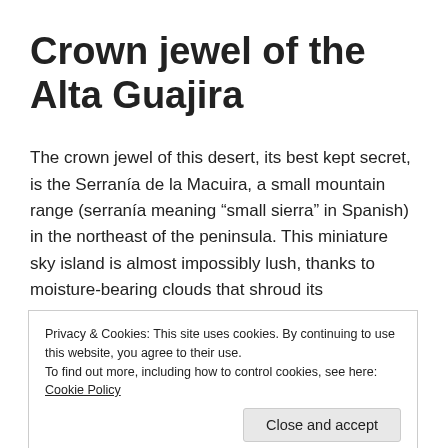Crown jewel of the Alta Guajira
The crown jewel of this desert, its best kept secret, is the Serranía de la Macuira, a small mountain range (serranía meaning “small sierra” in Spanish) in the northeast of the peninsula. This miniature sky island is almost impossibly lush, thanks to moisture-bearing clouds that shroud its
Privacy & Cookies: This site uses cookies. By continuing to use this website, you agree to their use.
To find out more, including how to control cookies, see here: Cookie Policy
As one climbs the slopes of the Macuira, the humidity